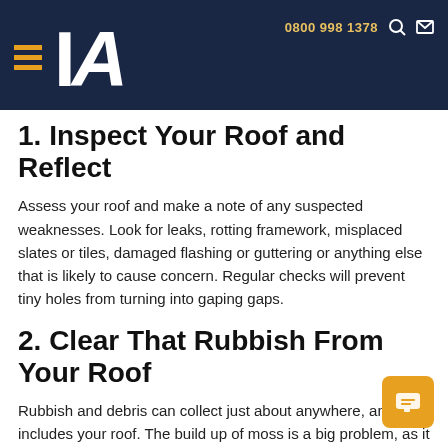0800 998 1378
1. Inspect Your Roof and Reflect
Assess your roof and make a note of any suspected weaknesses. Look for leaks, rotting framework, misplaced slates or tiles, damaged flashing or guttering or anything else that is likely to cause concern. Regular checks will prevent tiny holes from turning into gaping gaps.
2. Clear That Rubbish From Your Roof
Rubbish and debris can collect just about anywhere, and this includes your roof. The build up of moss is a big problem, as it holds onto water and can lead to long-term damage over time. Deal with it before your roof becomes a green garden (unless that's your intention, of course!)
It is also possible for rubbish to get stuck within nooks and